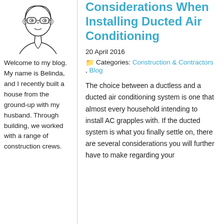[Figure (illustration): Line drawing / illustration of a person wearing glasses, shown from shoulders up, in a simple sketch style.]
Welcome to my blog. My name is Belinda, and I recently built a house from the ground-up with my husband. Through building, we worked with a range of construction crews.
Considerations When Installing Ducted Air Conditioning
20 April 2016
Categories: Construction & Contractors, Blog
The choice between a ductless and a ducted air conditioning system is one that almost every household intending to install AC grapples with. If the ducted system is what you finally settle on, there are several considerations you will further have to make regarding your